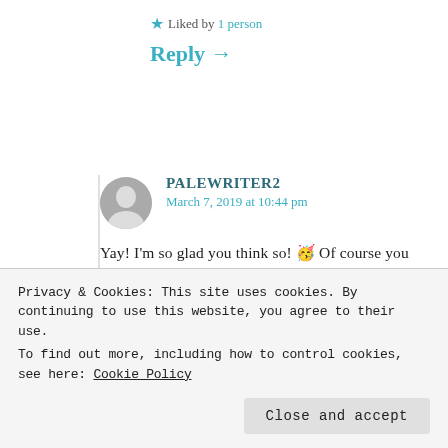★ Liked by 1 person
Reply →
PALEWRITER2
March 7, 2019 at 10:44 pm
Yay! I'm so glad you think so! 🥳 Of course you may! Such a stunning book! Oooo I hope you enjoy it! I like that idea!
★ Liked by 1 person
Privacy & Cookies: This site uses cookies. By continuing to use this website, you agree to their use.
To find out more, including how to control cookies, see here: Cookie Policy
Close and accept
March 7, 2019 at 10:50 pm